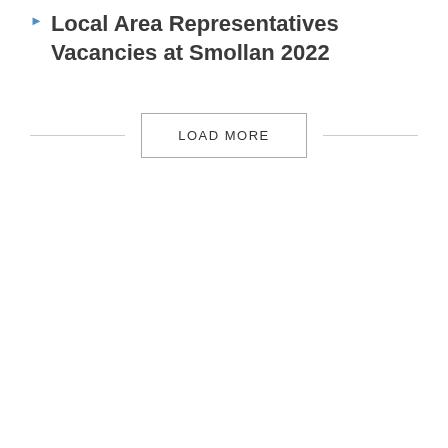Local Area Representatives Vacancies at Smollan 2022
LOAD MORE